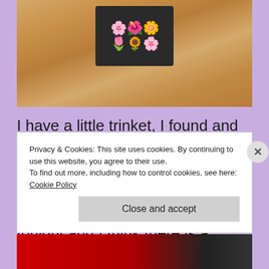[Figure (photo): A dark book or trinket box with colorful floral decoration on top, sitting on a wooden surface.]
I have a little trinket, I found and was drawn to at Hallmark two years ago, that has been quite frankly collecting dust on my bookshelf. I was drawn to it tonight and I think there is a certain magic in that. What is it, you might ask? It's
Privacy & Cookies: This site uses cookies. By continuing to use this website, you agree to their use.
To find out more, including how to control cookies, see here: Cookie Policy
Close and accept